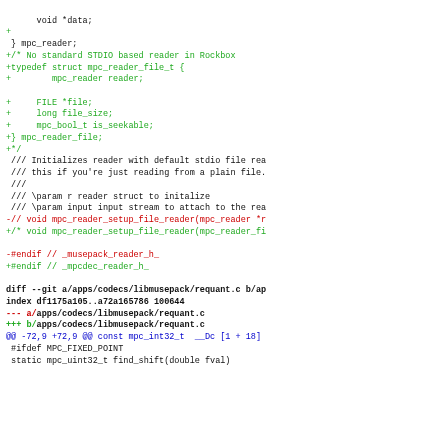Code diff showing changes to musepack reader and requant.c files